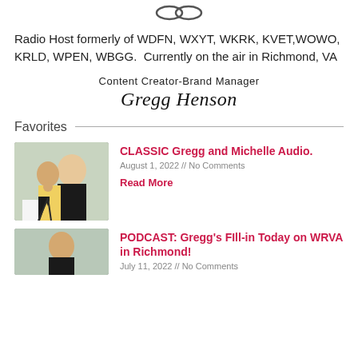[Figure (logo): Partial logo or icon at top of page]
Radio Host formerly of WDFN, WXYT, WKRK, KVET,WOWO, KRLD, WPEN, WBGG.  Currently on the air in Richmond, VA
Content Creator-Brand Manager
Gregg Henson
Favorites
[Figure (photo): Photo of two people, man and woman, woman making peace sign, wearing black shirts]
CLASSIC Gregg and Michelle Audio.
August 1, 2022 // No Comments
Read More
[Figure (photo): Photo of man at bottom]
PODCAST: Gregg's FIll-in Today on WRVA in Richmond!
July 11, 2022 // No Comments